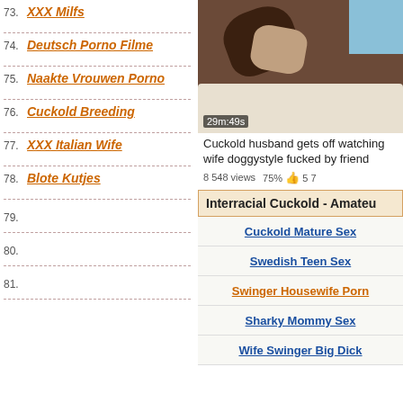73. XXX Milfs
74. Deutsch Porno Filme
75. Naakte Vrouwen Porno
76. Cuckold Breeding
77. XXX Italian Wife
78. Blote Kutjes
79.
80.
81.
[Figure (photo): Video thumbnail showing adult content, duration 29m:49s]
Cuckold husband gets off watching wife doggystyle fucked by friend
8 548 views   75%  5 7
Interracial Cuckold - Amateu
Cuckold Mature Sex
Swedish Teen Sex
Swinger Housewife Porn
Sharky Mommy Sex
Wife Swinger Big Dick